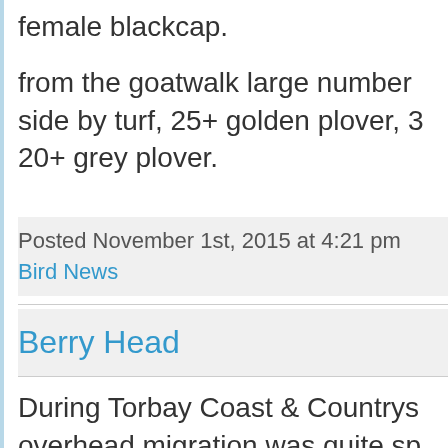female blackcap.
from the goatwalk large numbers side by turf, 25+ golden plover, 3 20+ grey plover.
Posted November 1st, 2015 at 4:21 pm
Bird News
Berry Head
During Torbay Coast & Countryside overhead migration was quite sp being 3000+ Redwing, 50+ Fi...